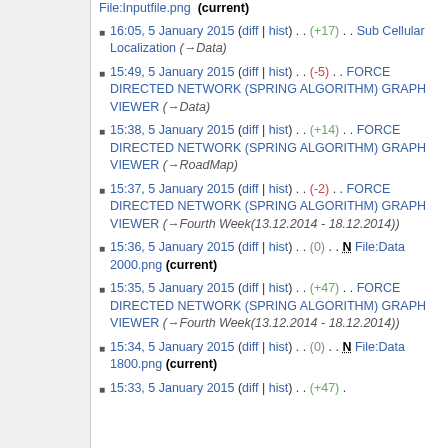File:Inputfile.png (current)
16:05, 5 January 2015 (diff | hist) . . (+17) . . Sub Cellular Localization (→Data)
15:49, 5 January 2015 (diff | hist) . . (-5) . . FORCE DIRECTED NETWORK (SPRING ALGORITHM) GRAPH VIEWER (→Data)
15:38, 5 January 2015 (diff | hist) . . (+14) . . FORCE DIRECTED NETWORK (SPRING ALGORITHM) GRAPH VIEWER (→RoadMap)
15:37, 5 January 2015 (diff | hist) . . (-2) . . FORCE DIRECTED NETWORK (SPRING ALGORITHM) GRAPH VIEWER (→Fourth Week(13.12.2014 - 18.12.2014))
15:36, 5 January 2015 (diff | hist) . . (0) . . N File:Data 2000.png (current)
15:35, 5 January 2015 (diff | hist) . . (+47) . . FORCE DIRECTED NETWORK (SPRING ALGORITHM) GRAPH VIEWER (→Fourth Week(13.12.2014 - 18.12.2014))
15:34, 5 January 2015 (diff | hist) . . (0) . . N File:Data 1800.png (current)
15:33, 5 January 2015 . . (+47) . .